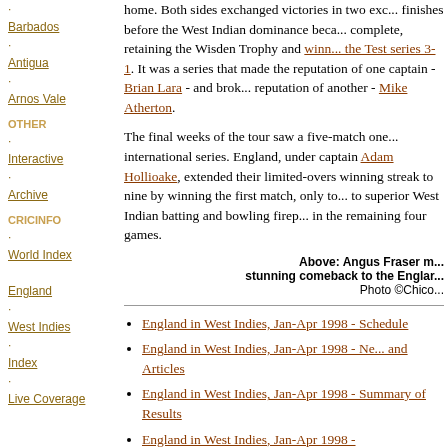Barbados
Antigua
Arnos Vale
OTHER
Interactive
Archive
CRICINFO
World Index
England
West Indies
Index
Live Coverage
home. Both sides exchanged victories in two exciting finishes before the West Indian dominance became complete, retaining the Wisden Trophy and winning the Test series 3-1. It was a series that made the reputation of one captain - Brian Lara - and broke the reputation of another - Mike Atherton.
The final weeks of the tour saw a five-match one-day international series. England, under captain Adam Hollioake, extended their limited-overs winning streak to nine by winning the first match, only to succumb to superior West Indian batting and bowling firepower in the remaining four games.
Above: Angus Fraser m... stunning comeback to the Englan... Photo ©Chico...
England in West Indies, Jan-Apr 1998 - Schedule
England in West Indies, Jan-Apr 1998 - News and Articles
England in West Indies, Jan-Apr 1998 - Summary of Results
England in West Indies, Jan-Apr 1998 -